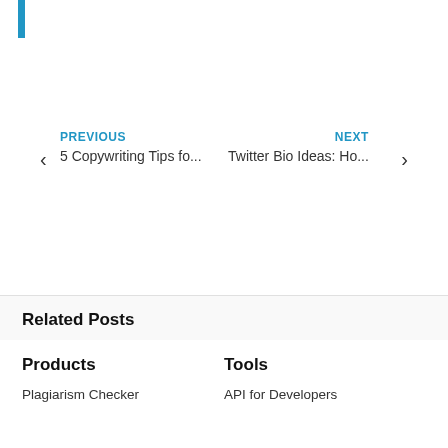[Figure (other): Blue vertical accent bar in top left corner]
PREVIOUS
5 Copywriting Tips fo...
NEXT
Twitter Bio Ideas: Ho...
Related Posts
Products
Tools
Plagiarism Checker
API for Developers